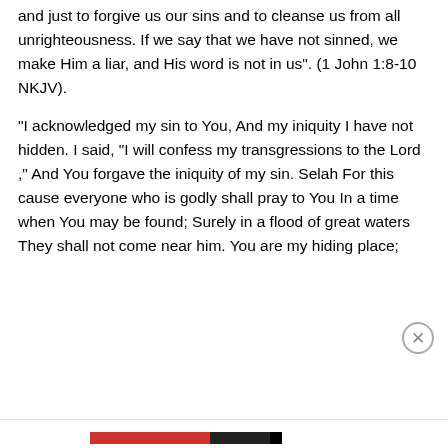and just to forgive us our sins and to cleanse us from all unrighteousness. If we say that we have not sinned, we make Him a liar, and His word is not in us". (1 John 1:8-10 NKJV).
“I acknowledged my sin to You, And my iniquity I have not hidden. I said, “I will confess my transgressions to the Lord ,” And You forgave the iniquity of my sin. Selah For this cause everyone who is godly shall pray to You In a time when You may be found; Surely in a flood of great waters They shall not come near him. You are my hiding place;
Privacy & Cookies: This site uses cookies. By continuing to use this website, you agree to their use.
To find out more, including how to control cookies, see here: Cookie Policy
Close and accept